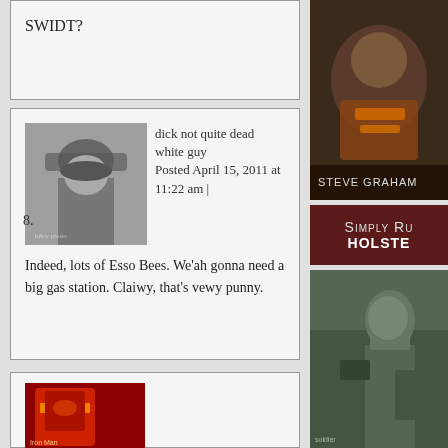SWIDT?
dick not quite dead white guy
Posted April 15, 2011 at 11:22 am |

Indeed, lots of Esso Bees. We’ah gonna need a big gas station. Claiwy, that’s vewy punny.
[Figure (photo): Black and white photo of a soldier wearing a helmet]
[Figure (photo): Steve Graham food image with text STEVE GRAHAM]
[Figure (logo): Simply Ru Holstein text banner]
[Figure (photo): Soldier in military gear]
[Figure (photo): Iron Man character partial image at bottom]